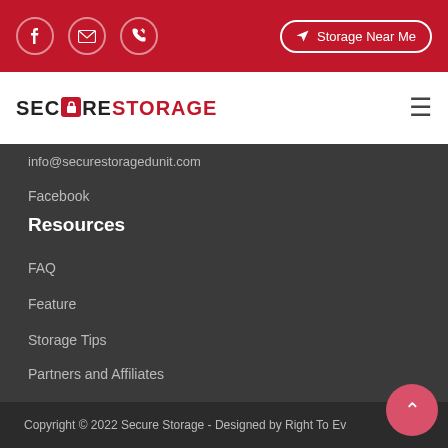Facebook icon | Email icon | Phone icon | Storage Near Me
[Figure (logo): SecureStorage logo with lock icon]
info@securesponseunit.com
Facebook
Resources
FAQ
Feature
Storage Tips
Partners and Affiliates
Size Guide
Copyright © 2022 Secure Storage - Designed by Right To Ev